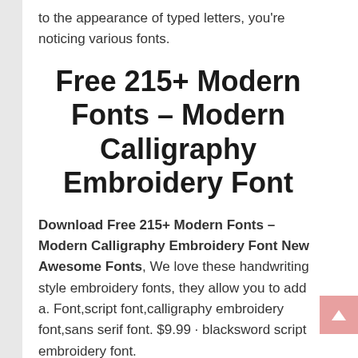to the appearance of typed letters, you're noticing various fonts.
Free 215+ Modern Fonts – Modern Calligraphy Embroidery Font
Download Free 215+ Modern Fonts – Modern Calligraphy Embroidery Font New Awesome Fonts, We love these handwriting style embroidery fonts, they allow you to add a. Font,script font,calligraphy embroidery font,sans serif font. $9.99 · blacksword script embroidery font.